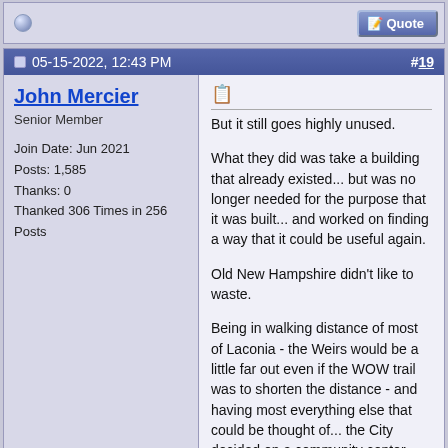Quote button bar
05-15-2022, 12:43 PM  #19
John Mercier
Senior Member

Join Date: Jun 2021
Posts: 1,585
Thanks: 0
Thanked 306 Times in 256 Posts
But it still goes highly unused.

What they did was take a building that already existed... but was no longer needed for the purpose that it was built... and worked on finding a way that it could be useful again.

Old New Hampshire didn't like to waste.

Being in walking distance of most of Laconia - the Weirs would be a little far out even if the WOW trail was to shorten the distance - and having most everything else that could be thought of... the City decided on a community center.